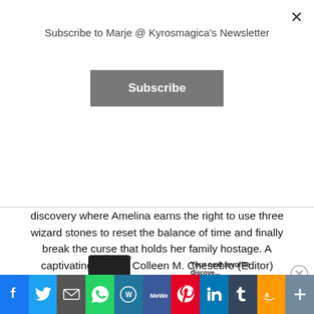Subscribe to Marje @ Kyrosmagica's Newsletter
Subscribe
discovery where Amelina earns the right to use three wizard stones to reset the balance of time and finally break the curse that holds her family hostage. A captivating tale!" – Colleen M. Chesebro (Editor)
Advertisements
Advertisements
Your next favorite
[Figure (screenshot): Social media share bar at bottom with icons for Facebook, Twitter, Mail, WhatsApp, WordPress, MeWe, Pinterest, LinkedIn, Tumblr, Amazon, and a share/add button]